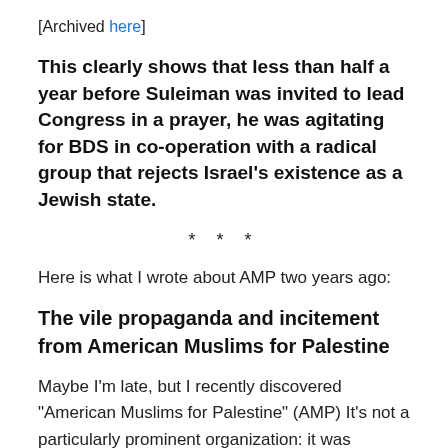[Archived here]
This clearly shows that less than half a year before Suleiman was invited to lead Congress in a prayer, he was agitating for BDS in co-operation with a radical group that rejects Israel's existence as a Jewish state.
* * *
Here is what I wrote about AMP two years ago:
The vile propaganda and incitement from American Muslims for Palestine
Maybe I’m late, but I recently discovered “American Muslims for Palestine” (AMP) It’s not a particularly prominent organization: it was founded in 2006; its Twitter account has some 6,600 followers, while the Facebook